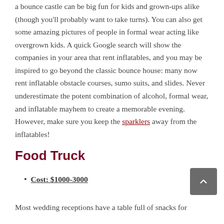a bounce castle can be big fun for kids and grown-ups alike (though you'll probably want to take turns). You can also get some amazing pictures of people in formal wear acting like overgrown kids. A quick Google search will show the companies in your area that rent inflatables, and you may be inspired to go beyond the classic bounce house: many now rent inflatable obstacle courses, sumo suits, and slides. Never underestimate the potent combination of alcohol, formal wear, and inflatable mayhem to create a memorable evening. However, make sure you keep the sparklers away from the inflatables!
Food Truck
Cost: $1000-3000
Most wedding receptions have a table full of snacks for